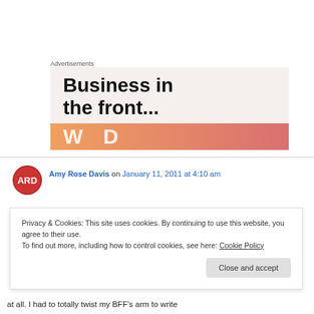Advertisements
[Figure (illustration): Advertisement banner showing text 'Business in the front...' with colorful orange-pink gradient bar at bottom containing partial text 'W...D']
Amy Rose Davis on January 11, 2011 at 4:10 am
Privacy & Cookies: This site uses cookies. By continuing to use this website, you agree to their use. To find out more, including how to control cookies, see here: Cookie Policy
Close and accept
at all. I had to totally twist my BFF's arm to write